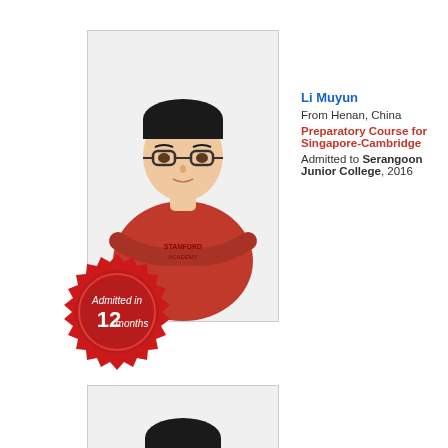[Figure (photo): Photo of Li Muyun, a young man wearing glasses and a red Stanford Academy hoodie, arms crossed, with a red wax seal overlay reading 'Admitted in 12 months']
Li Muyun
From Henan, China
Preparatory Course for Singapore-Cambridge
Admitted to Serangoon Junior College, 2016
[Figure (photo): Partial photo of a second student, showing only the top of their head with black hair]